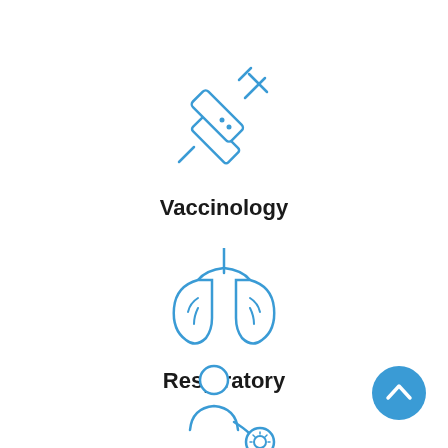[Figure (illustration): Blue outline icon of a syringe/needle tilted diagonally]
Vaccinology
[Figure (illustration): Blue outline icon of lungs]
Respiratory
[Figure (illustration): Blue outline icon of a person looking through a magnifying glass (researcher/diagnostics)]
[Figure (illustration): Blue circular back-to-top button with upward chevron arrow]